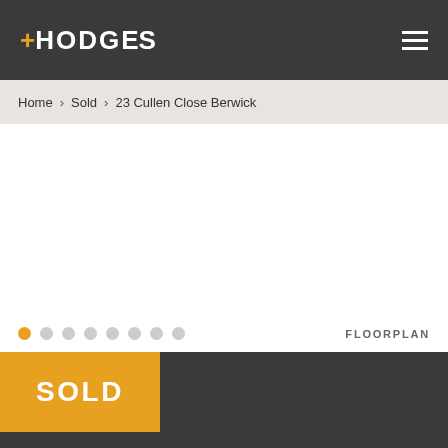+HODGES
Home > Sold > 23 Cullen Close Berwick
[Figure (photo): Property photo area - white/blank image viewer with carousel dots and FLOORPLAN link]
FLOORPLAN
SOLD